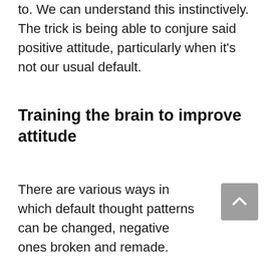to. We can understand this instinctively. The trick is being able to conjure said positive attitude, particularly when it's not our usual default.
Training the brain to improve attitude
There are various ways in which default thought patterns can be changed, negative ones broken and remade.